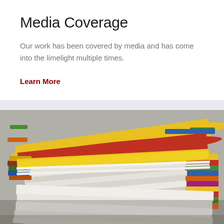Media Coverage
Our work has been covered by media and has come into the limelight multiple times.
Learn More
[Figure (photo): A close-up photograph of a stack of colorful magazines or newspapers piled on top of each other, showing their spines and edges with various colors including yellow, red, green, blue, and orange.]